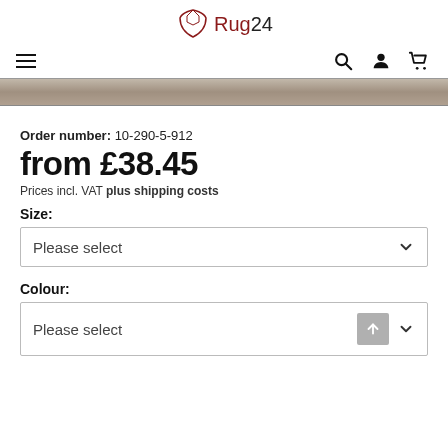Rug24 logo
[Figure (logo): Rug24 brand logo with shield/rug icon, 'Rug' in dark red and '24' in black]
[Figure (screenshot): Navigation bar with hamburger menu on left, search, user, and cart icons on right]
[Figure (photo): Top strip of a rug product image showing wood-colored texture]
Order number:  10-290-5-912
from £38.45
Prices incl. VAT plus shipping costs
Size:
Please select
Colour:
Please select